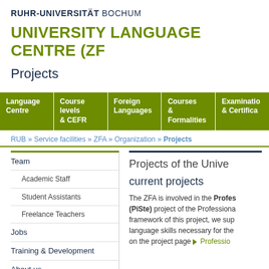RUHR-UNIVERSITÄT BOCHUM
UNIVERSITY LANGUAGE CENTRE (ZF...
Projects
[Figure (other): Navigation bar with green background containing: Language Centre, Course levels & CEFR, Foreign Languages, Courses & Formalities, Examinations & Certificates]
RUB » Service facilities » ZFA » Organization » Projects
Team
Academic Staff
Student Assistants
Freelance Teachers
Jobs
Training & Development
About us
Memberships & Affilations
Projects & Co-operations
Projects of the Unive...
current projects
The ZFA is involved in the Professional Simulation Testing (PiSte) project of the Professional... framework of this project, we sup... language skills necessary for the... on the project page ▶ Professio...